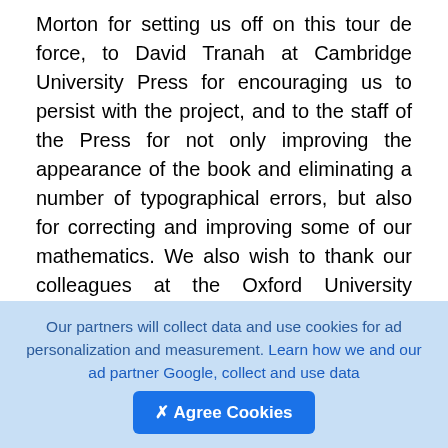Morton for setting us off on this tour de force, to David Tranah at Cambridge University Press for encouraging us to persist with the project, and to the staff of the Press for not only improving the appearance of the book and eliminating a number of typographical errors, but also for correcting and improving some of our mathematics. We also wish to thank our colleagues at the Oxford University Computing Laboratory, particularly Nick Trefethen, Mike Giles and Andy Wathen, for keeping our spirits up, and to Paul Houston at the Department of Mathematics and Computer Science of University of Leicester for his help with the final example in the book. Above all, we are grateful to our families for their patience, support and
Our partners will collect data and use cookies for ad personalization and measurement. Learn how we and our ad partner Google, collect and use data